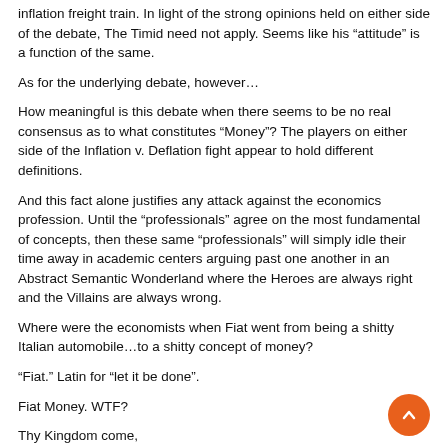inflation freight train. In light of the strong opinions held on either side of the debate, The Timid need not apply. Seems like his “attitude” is a function of the same.
As for the underlying debate, however…
How meaningful is this debate when there seems to be no real consensus as to what constitutes “Money”? The players on either side of the Inflation v. Deflation fight appear to hold different definitions.
And this fact alone justifies any attack against the economics profession. Until the “professionals” agree on the most fundamental of concepts, then these same “professionals” will simply idle their time away in academic centers arguing past one another in an Abstract Semantic Wonderland where the Heroes are always right and the Villains are always wrong.
Where were the economists when Fiat went from being a shitty Italian automobile…to a shitty concept of money?
“Fiat.” Latin for “let it be done”.
Fiat Money. WTF?
Thy Kingdom come,
Thy Will be done